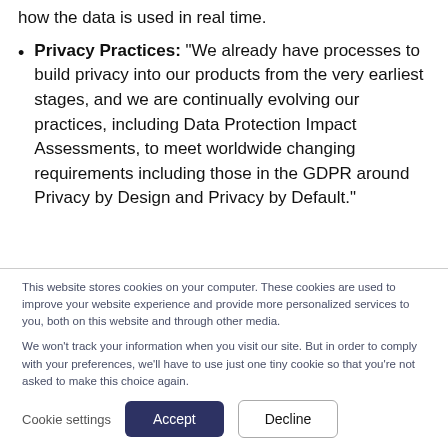how the data is used in real time.
Privacy Practices: "We already have processes to build privacy into our products from the very earliest stages, and we are continually evolving our practices, including Data Protection Impact Assessments, to meet worldwide changing requirements including those in the GDPR around Privacy by Design and Privacy by Default."
This website stores cookies on your computer. These cookies are used to improve your website experience and provide more personalized services to you, both on this website and through other media.
We won't track your information when you visit our site. But in order to comply with your preferences, we'll have to use just one tiny cookie so that you're not asked to make this choice again.